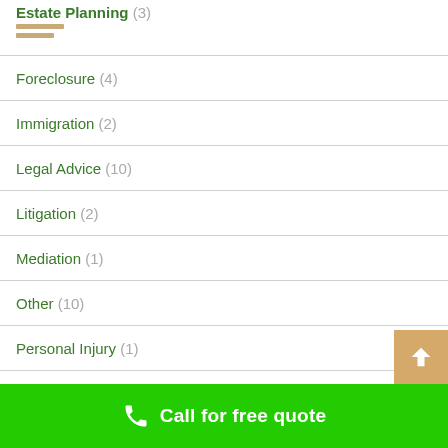Estate Planning (3)
Foreclosure (4)
Immigration (2)
Legal Advice (10)
Litigation (2)
Mediation (1)
Other (10)
Personal Injury (1)
Taxation Law (5)
Traffic Law (9)
Call for free quote